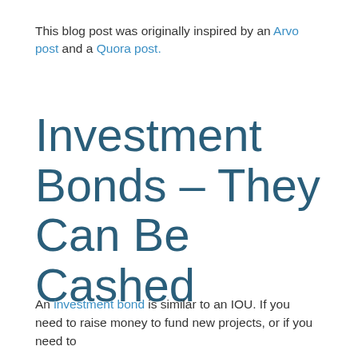This blog post was originally inspired by an Arvo post and a Quora post.
Investment Bonds – They Can Be Cashed
An investment bond is similar to an IOU. If you need to raise money to fund new projects, or if you need to